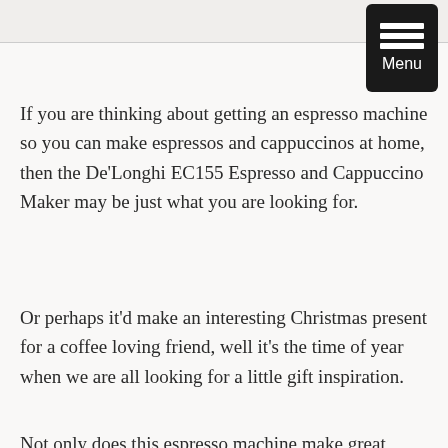[Figure (other): Menu button: black rounded rectangle with three white horizontal bars and white text 'Menu' below]
If you are thinking about getting an espresso machine so you can make espressos and cappuccinos at home, then the De'Longhi EC155 Espresso and Cappuccino Maker may be just what you are looking for.
Or perhaps it'd make an interesting Christmas present for a coffee loving friend, well it's the time of year when we are all looking for a little gift inspiration.
Not only does this espresso machine make great tasting coffee, it's compact, so it won't take up much space. It also uses both coffee pods and ground coffee which means the sky's the limit in terms of the number of coffee blends to try. By the way, you can buy refillable coffee pods. And,